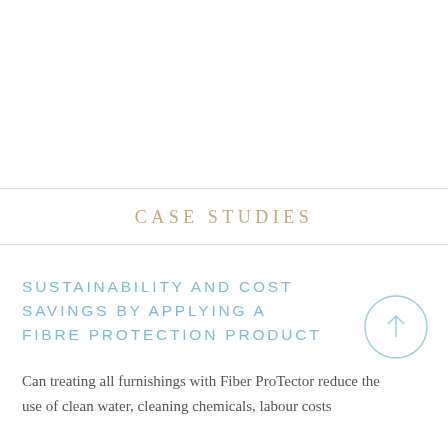CASE STUDIES
SUSTAINABILITY AND COST SAVINGS BY APPLYING A FIBRE PROTECTION PRODUCT
Can treating all furnishings with Fiber ProTector reduce the use of clean water, cleaning chemicals, labour costs